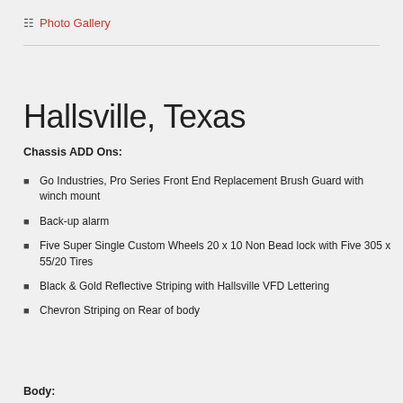Photo Gallery
Hallsville, Texas
Chassis ADD Ons:
Go Industries, Pro Series Front End Replacement Brush Guard with winch mount
Back-up alarm
Five Super Single Custom Wheels 20 x 10 Non Bead lock with Five 305 x 55/20 Tires
Black & Gold Reflective Striping with Hallsville VFD Lettering
Chevron Striping on Rear of body
Body: